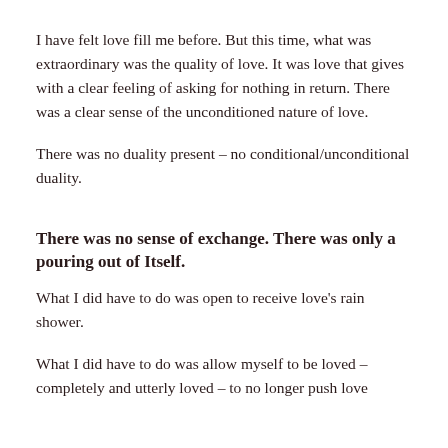I have felt love fill me before. But this time, what was extraordinary was the quality of love. It was love that gives with a clear feeling of asking for nothing in return. There was a clear sense of the unconditioned nature of love.
There was no duality present – no conditional/unconditional duality.
There was no sense of exchange. There was only a pouring out of Itself.
What I did have to do was open to receive love's rain shower.
What I did have to do was allow myself to be loved – completely and utterly loved – to no longer push love